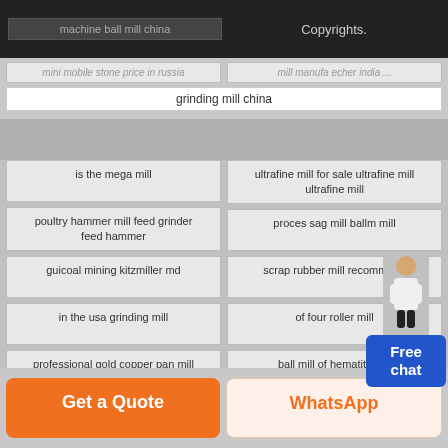machine ball mill china
Copyrights.
mini mobile stone price in russia
mill manufa echer india
grinding mill china
is the mega mill
ultrafine mill for sale ultrafine mill ultrafine mill
poultry hammer mill feed grinder feed hammer
proces sag mill ballm mill
guicoal mining kitzmiller md
scrap rubber mill recommend
in the usa grinding mill
of four roller mill
professional gold copper pan mill for sale e porter
ball mill of hematite ore beneficiation
coal ball mill manufacturer in beawar
higher capacity fly ash grinder mill
fitzmill hammer trituradoras
inch cement mill
c80 mill
mills blouse pices with price
Get a Quote
WhatsApp